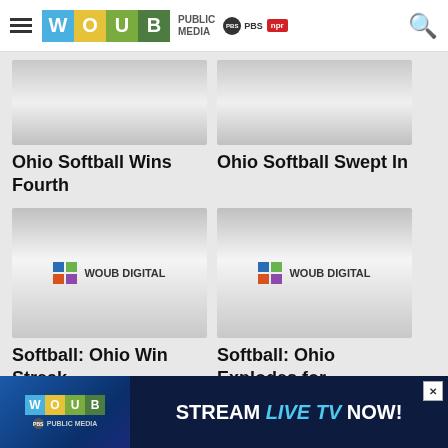WOUB Public Media — PBS NPR
[Figure (screenshot): Article thumbnail placeholder image for Ohio Softball Wins Fourth]
Ohio Softball Wins Fourth
[Figure (screenshot): Article thumbnail placeholder image for Ohio Softball Swept In]
Ohio Softball Swept In
[Figure (logo): WOUB Digital logo thumbnail for Softball: Ohio Win Streak]
Softball: Ohio Win Streak
[Figure (logo): WOUB Digital logo thumbnail for Softball: Ohio Explodes for]
Softball: Ohio Explodes for
[Figure (screenshot): WOUB Public Media advertisement banner — Stream Live TV Now!]